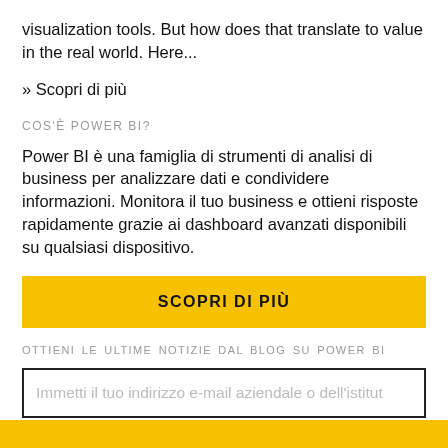visualization tools. But how does that translate to value in the real world. Here...
» Scopri di più
COS'È POWER BI?
Power BI è una famiglia di strumenti di analisi di business per analizzare dati e condividere informazioni. Monitora il tuo business e ottieni risposte rapidamente grazie ai dashboard avanzati disponibili su qualsiasi dispositivo.
SCOPRI DI PIÙ
OTTIENI LE ULTIME NOTIZIE DAL BLOG SU POWER BI
Immetti il tuo indirizzo e-mail aziendale o dell'istitut